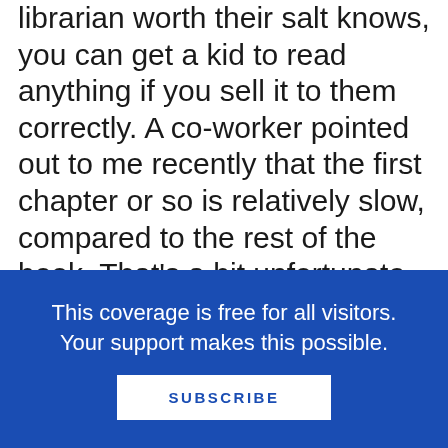librarian worth their salt knows, you can get a kid to read anything if you sell it to them correctly. A co-worker pointed out to me recently that the first chapter or so is relatively slow, compared to the rest of the book. That's a bit unfortunate. Slow passages are fine, particularly if they are of a literary bent, but you wouldn't usually kick off your book with them right from the start. Still, once the plot gets moving you're in for a heck of a ride. There is true villainy and true love on these pages. There's the mystery of adults who have learned too much and the foolishness of children who only want to learn more. A kid reading this book will read it on one level, an adult on another, and history clearer still. A bright,
This coverage is free for all visitors. Your support makes this possible.
SUBSCRIBE